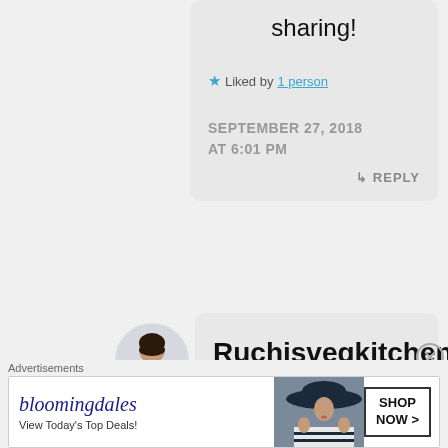sharing!
★ Liked by 1 person
SEPTEMBER 27, 2018 AT 6:01 PM
↳ REPLY
[Figure (photo): Avatar photo of a woman with dark hair in a black outfit, circular crop]
Ruchisvegkitchen
Advertisements
[Figure (screenshot): Bloomingdales advertisement banner: logo, 'View Today's Top Deals!', woman in hat, SHOP NOW button]